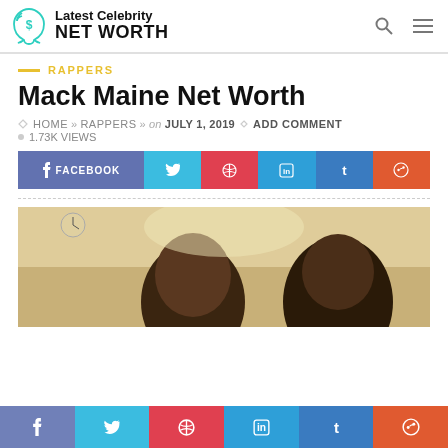Latest Celebrity NET WORTH
RAPPERS
Mack Maine Net Worth
HOME » RAPPERS » on JULY 1, 2019 ◇ ADD COMMENT ◦ 1.73K VIEWS
[Figure (screenshot): Social share buttons: Facebook, Twitter, Pinterest, LinkedIn, Tumblr, Reddit]
[Figure (photo): Photo of two men (Mack Maine article image), warm indoor lighting]
[Figure (screenshot): Bottom social share bar: Facebook, Twitter, Pinterest, LinkedIn, Tumblr, Reddit]